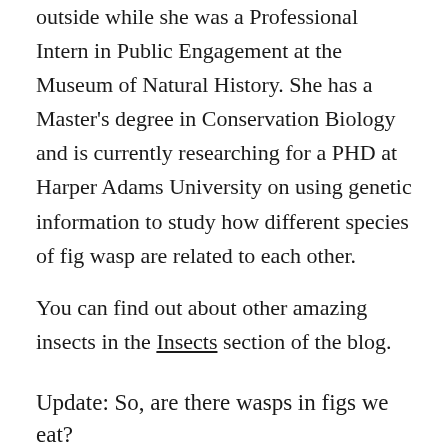outside while she was a Professional Intern in Public Engagement at the Museum of Natural History. She has a Master's degree in Conservation Biology and is currently researching for a PHD at Harper Adams University on using genetic information to study how different species of fig wasp are related to each other.
You can find out about other amazing insects in the Insects section of the blog.
Update: So, are there wasps in figs we eat?
Sotiria's video sparked some debate on social media about whether there are wasps in the figs we eat. This is a complicated subject, but the short answer is 'no'. Many figs that are produced for sale in supermarkets and